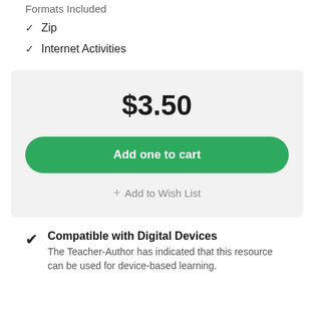Formats Included
✓ Zip
✓ Internet Activities
$3.50
Add one to cart
+ Add to Wish List
Compatible with Digital Devices — The Teacher-Author has indicated that this resource can be used for device-based learning.